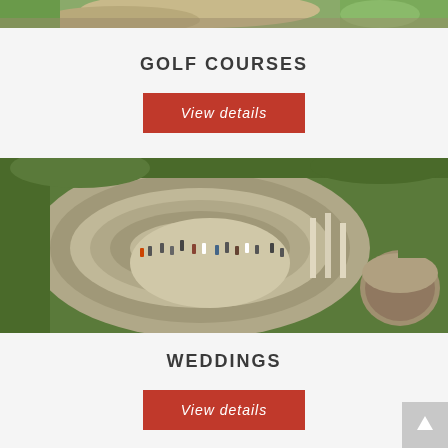[Figure (photo): Aerial view of golf course with sand bunkers and green grass, partially visible at top of page]
GOLF COURSES
View details
[Figure (photo): Aerial view of an outdoor amphitheater with stone steps and people gathered for a wedding ceremony, surrounded by green shrubbery]
WEDDINGS
View details